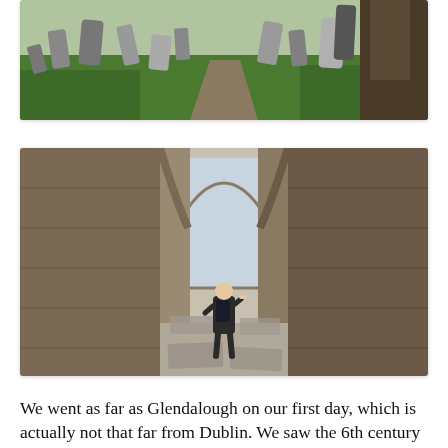[Figure (photo): Top portion of a graveyard scene at Glendalough with ancient leaning gravestones on green grass, a large tree trunk on the right, and a dirt path running through the middle.]
[Figure (photo): Interior of ruined stone church or cathedral at Glendalough, with a person standing in the center looking toward a Romanesque arched window opening at the far end. Flat grave slabs on the gravel floor, tall stone walls on both sides.]
We went as far as Glendalough on our first day, which is actually not that far from Dublin. We saw the 6th century monastic settlement, the Round Tower and the graveyard,